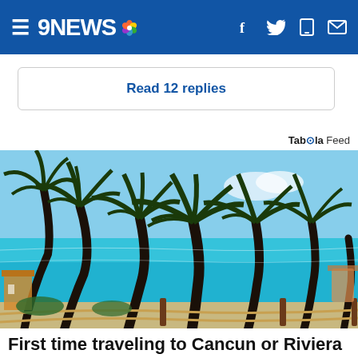9NEWS [NBC logo] | f [twitter] [mobile] [mail]
Read 12 replies
Taboola Feed
[Figure (photo): Tropical beach scene with palm trees leaning in the wind, turquoise Caribbean ocean in background, rope fence and beach area visible, sunny day]
First time traveling to Cancun or Riviera